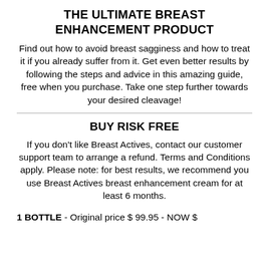THE ULTIMATE BREAST ENHANCEMENT PRODUCT
Find out how to avoid breast sagginess and how to treat it if you already suffer from it. Get even better results by following the steps and advice in this amazing guide, free when you purchase. Take one step further towards your desired cleavage!
BUY RISK FREE
If you don't like Breast Actives, contact our customer support team to arrange a refund. Terms and Conditions apply. Please note: for best results, we recommend you use Breast Actives breast enhancement cream for at least 6 months.
1 BOTTLE - Original price $ 99.95 - NOW $